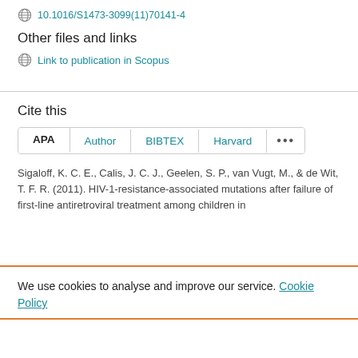10.1016/S1473-3099(11)70141-4
Other files and links
Link to publication in Scopus
Cite this
APA  Author  BIBTEX  Harvard  ...
Sigaloff, K. C. E., Calis, J. C. J., Geelen, S. P., van Vugt, M., & de Wit, T. F. R. (2011). HIV-1-resistance-associated mutations after failure of first-line antiretroviral treatment among children in
We use cookies to analyse and improve our service. Cookie Policy